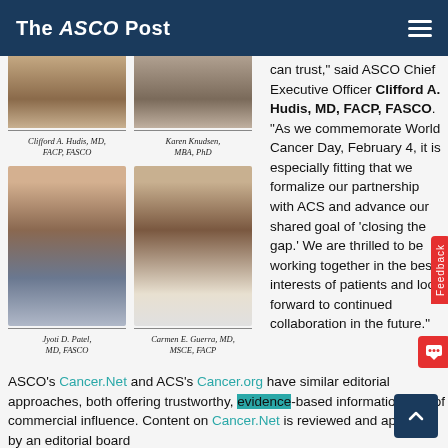The ASCO Post
[Figure (photo): Headshot photo of Clifford A. Hudis, MD, FACP, FASCO (top, partially cropped)]
Clifford A. Hudis, MD, FACP, FASCO
[Figure (photo): Headshot photo of Karen Knudsen, MBA, PhD (top, partially cropped)]
Karen Knudsen, MBA, PhD
[Figure (photo): Headshot photo of Jyoti D. Patel, MD, FASCO]
Jyoti D. Patel, MD, FASCO
[Figure (photo): Headshot photo of Carmen E. Guerra, MD, MSCE, FACP]
Carmen E. Guerra, MD, MSCE, FACP
can trust," said ASCO Chief Executive Officer Clifford A. Hudis, MD, FACP, FASCO. "As we commemorate World Cancer Day, February 4, it is especially fitting that we formalize our partnership with ACS and advance our shared goal of 'closing the gap.' We are thrilled to be working together in the best interests of patients and look forward to continued collaboration in the future."
ASCO's Cancer.Net and ACS's Cancer.org have similar editorial approaches, both offering trustworthy, evidence-based information free of commercial influence. Content on Cancer.Net is reviewed and approved by an editorial board